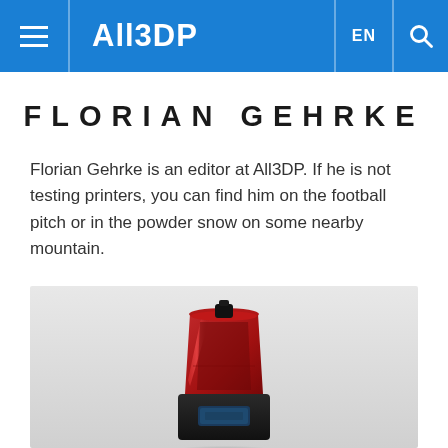All3DP
FLORIAN GEHRKE
Florian Gehrke is an editor at All3DP. If he is not testing printers, you can find him on the football pitch or in the powder snow on some nearby mountain.
[Figure (photo): A red and black resin 3D printer (Elegoo or similar brand) on a light gray background, centered in the image.]